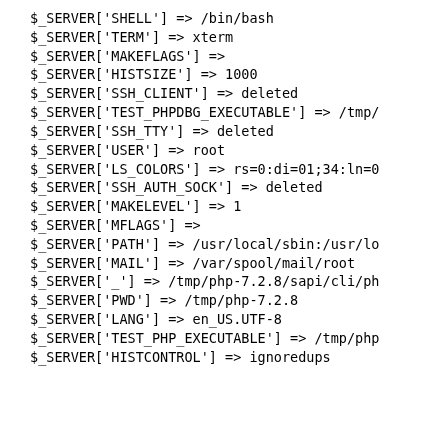$_SERVER['SHELL'] => /bin/bash
$_SERVER['TERM'] => xterm
$_SERVER['MAKEFLAGS'] =>
$_SERVER['HISTSIZE'] => 1000
$_SERVER['SSH_CLIENT'] => deleted
$_SERVER['TEST_PHPDBG_EXECUTABLE'] => /tmp/
$_SERVER['SSH_TTY'] => deleted
$_SERVER['USER'] => root
$_SERVER['LS_COLORS'] => rs=0:di=01;34:ln=0
$_SERVER['SSH_AUTH_SOCK'] => deleted
$_SERVER['MAKELEVEL'] => 1
$_SERVER['MFLAGS'] =>
$_SERVER['PATH'] => /usr/local/sbin:/usr/lo
$_SERVER['MAIL'] => /var/spool/mail/root
$_SERVER['_'] => /tmp/php-7.2.8/sapi/cli/ph
$_SERVER['PWD'] => /tmp/php-7.2.8
$_SERVER['LANG'] => en_US.UTF-8
$_SERVER['TEST_PHP_EXECUTABLE'] => /tmp/php
$_SERVER['HISTCONTROL'] => ignoredups